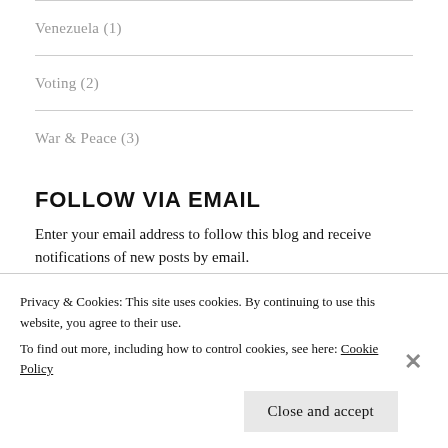Venezuela (1)
Voting (2)
War & Peace (3)
FOLLOW VIA EMAIL
Enter your email address to follow this blog and receive notifications of new posts by email.
Email Address
Privacy & Cookies: This site uses cookies. By continuing to use this website, you agree to their use.
To find out more, including how to control cookies, see here: Cookie Policy
Close and accept